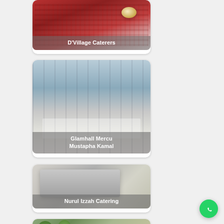[Figure (photo): Card with food catering photo, red/colorful trays with cups and bowls. Label: D'Village Caterers]
[Figure (photo): Card with banquet hall photo, large room with tall windows, flower decorations, white chairs. Label: Glamhall Mercu Mustapha Kamal]
[Figure (photo): Card with catering buffet setup photo, silver chafing dishes in a row with flowers. Label: Nurul Izzah Catering]
[Figure (photo): Partial card at bottom with greenery and food display. Partially visible.]